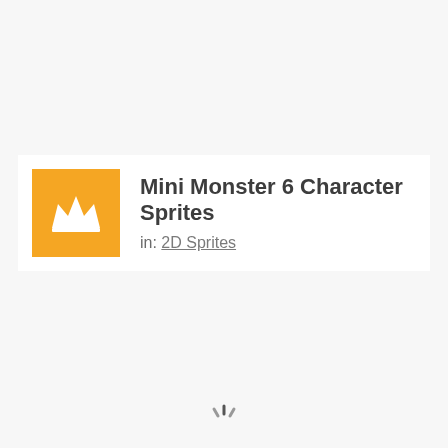[Figure (logo): Orange square icon with a white crown symbol inside]
Mini Monster 6 Character Sprites
in: 2D Sprites
[Figure (illustration): Loading spinner icon at the bottom center of the page]